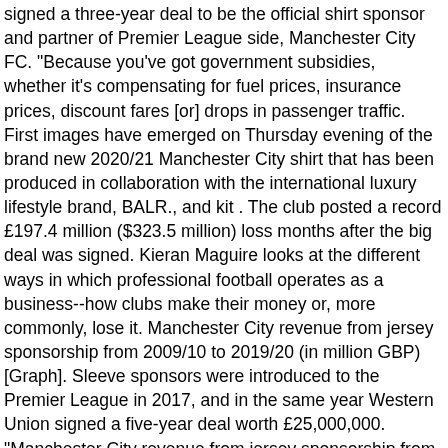signed a three-year deal to be the official shirt sponsor and partner of Premier League side, Manchester City FC. "Because you've got government subsidies, whether it's compensating for fuel prices, insurance prices, discount fares [or] drops in passenger traffic. First images have emerged on Thursday evening of the brand new 2020/21 Manchester City shirt that has been produced in collaboration with the international luxury lifestyle brand, BALR., and kit . The club posted a record £197.4 million ($323.5 million) loss months after the big deal was signed. Kieran Maguire looks at the different ways in which professional football operates as a business--how clubs make their money or, more commonly, lose it. Manchester City revenue from jersey sponsorship from 2009/10 to 2019/20 (in million GBP) [Graph]. Sleeve sponsors were introduced to the Premier League in 2017, and in the same year Western Union signed a five-year deal worth £25,000,000. "Manchester City revenue from jersey sponsorship from 2009/10 to 2019/20 (in million GBP)." There are reports the soccer team has already hired an agency to seek a new shirt sponsor to replace Etihad.